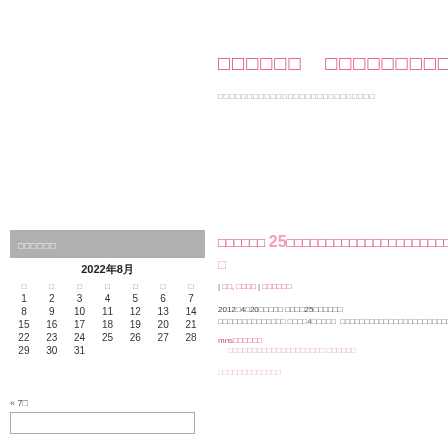□□□□□□  □□□□□□□□□□
□□□□□□□□□□□□□□□□□□□□□□□□□□□
□□□□□
□□□□□□ 25□□□□□□□□□□□□□□□□□□□□□□□□
□
| □□, □□□□ | □□□□□□
2022年8月
| □ | □ | □ | □ | □ | □ | □ |
| --- | --- | --- | --- | --- | --- | --- |
| 1 | 2 | 3 | 4 | 5 | 6 | 7 |
| 8 | 9 | 10 | 11 | 12 | 13 | 14 |
| 15 | 16 | 17 | 18 | 19 | 20 | 21 |
| 22 | 23 | 24 | 25 | 26 | 27 | 28 |
| 29 | 30 | 31 |  |  |  |  |
« 7□
2012□4□20□□□□□ □□□□25□□□□□□
□□□□□□□□□□□□□□ □□□□4□□□□□  □□□□□□□□□□□□□□□□□□□□□□□□□□□□□
mns□□□□□□
□□□□□□□□□□□□□□□□□□□□ □□□□□□
□□□□□□□□□□□□□